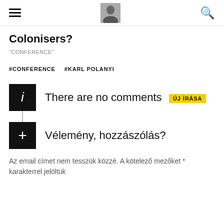≡ [logo] 🔍
Colonisers?
"CONFERENCE"
#CONFERENCE   #KARL POLANYI
There are no comments   ÚJ ÍRÁSA
Vélemény, hozzászólás?
Az email címet nem tesszük közzé. A kötelező mezőket * karakterrel jelöltük